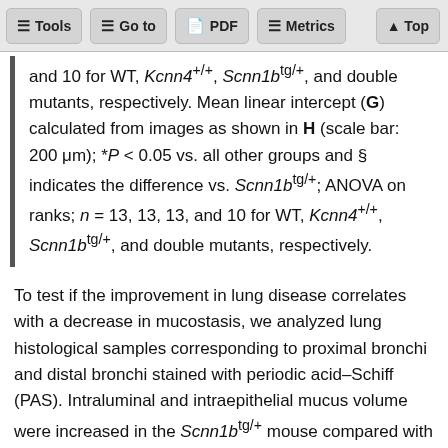Tools | Go to | PDF | Metrics | Top
and 10 for WT, Kcnn4+/+, Scnn1btg/+, and double mutants, respectively. Mean linear intercept (G) calculated from images as shown in H (scale bar: 200 μm); *P < 0.05 vs. all other groups and § indicates the difference vs. Scnn1btg/+; ANOVA on ranks; n = 13, 13, 13, and 10 for WT, Kcnn4+/+, Scnn1btg/+, and double mutants, respectively.
To test if the improvement in lung disease correlates with a decrease in mucostasis, we analyzed lung histological samples corresponding to proximal bronchi and distal bronchi stained with periodic acid–Schiff (PAS). Intraluminal and intraepithelial mucus volume were increased in the Scnn1btg/+ mouse compared with WTs and Kcnn4-/- in both proximal